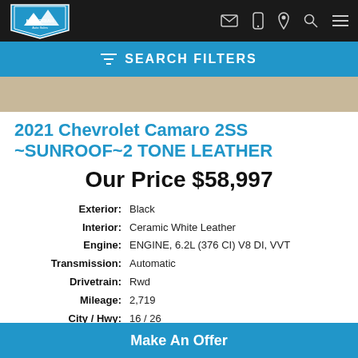[Figure (logo): Mt. Moriah Auto Sales logo – mountain graphic with blue and white shield badge]
SEARCH FILTERS
[Figure (photo): Partial car photo showing tan/beige surface]
2021 Chevrolet Camaro 2SS ~SUNROOF~2 TONE LEATHER
Our Price $58,997
| Label | Value |
| --- | --- |
| Exterior: | Black |
| Interior: | Ceramic White Leather |
| Engine: | ENGINE, 6.2L (376 CI) V8 DI, VVT |
| Transmission: | Automatic |
| Drivetrain: | Rwd |
| Mileage: | 2,719 |
| City / Hwy: | 16 / 26 |
| VIN: | 1G1FH1R72M0105646 |
| Warranty: | Factory Warranty Remaining |
| Stock: | TR45971 |
Make An Offer